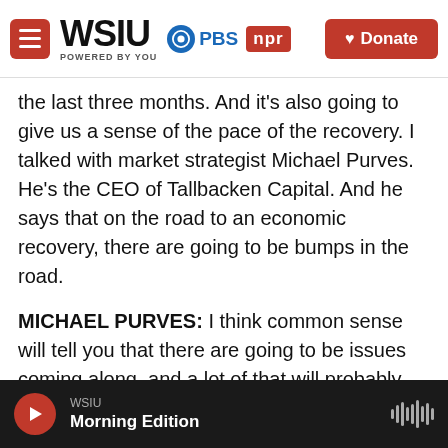WSIU POWERED BY YOU | PBS | NPR | Donate
the last three months. And it's also going to give us a sense of the pace of the recovery. I talked with market strategist Michael Purves. He's the CEO of Tallbacken Capital. And he says that on the road to an economic recovery, there are going to be bumps in the road.
MICHAEL PURVES: I think common sense will tell you that there are going to be issues coming along, and a lot of that will probably weigh on some part of the recovery story.
GURA: But for the time being, the focus is once
WSIU Morning Edition